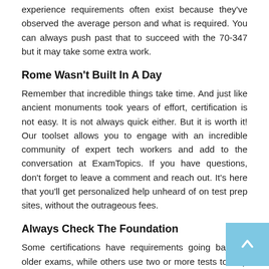experience requirements often exist because they've observed the average person and what is required. You can always push past that to succeed with the 70-347 but it may take some extra work.
Rome Wasn't Built In A Day
Remember that incredible things take time. And just like ancient monuments took years of effort, certification is not easy. It is not always quick either. But it is worth it! Our toolset allows you to engage with an incredible community of expert tech workers and add to the conversation at ExamTopics. If you have questions, don't forget to leave a comment and reach out. It's here that you'll get personalized help unheard of on test prep sites, without the outrageous fees.
Always Check The Foundation
Some certifications have requirements going back to older exams, while others use two or more tests to help someone